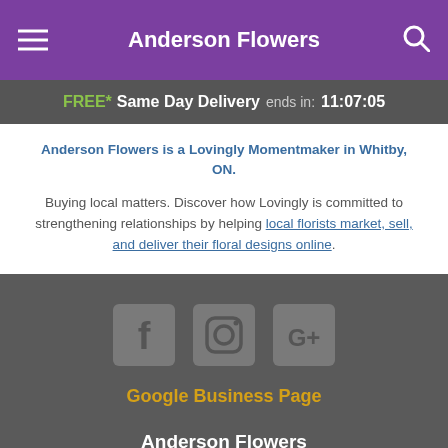Anderson Flowers
FREE* Same Day Delivery ends in: 11:07:05
Anderson Flowers is a Lovingly Momentmaker in Whitby, ON.
Buying local matters. Discover how Lovingly is committed to strengthening relationships by helping local florists market, sell, and deliver their floral designs online.
[Figure (other): Social media icons for Facebook, Instagram, and Google+]
Google Business Page
Anderson Flowers
600 Euclid Street Unit #1 Whitby ON L1N 5C2
+1 (905) 666-9509